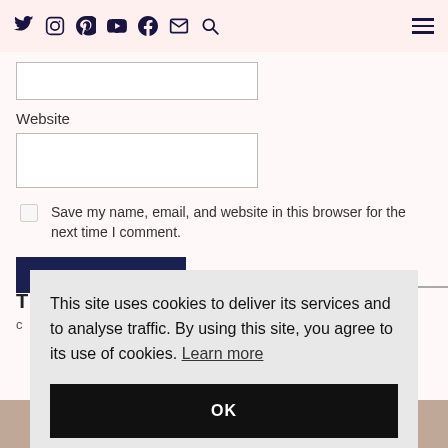Social media icons: Twitter, Instagram, Pinterest, YouTube, Facebook, Email, Search | Hamburger menu
Website
[Figure (screenshot): Website text input field (empty)]
Save my name, email, and website in this browser for the next time I comment.
POST COMMENT
This site uses cookies to deliver its services and to analyse traffic. By using this site, you agree to its use of cookies. Learn more
OK